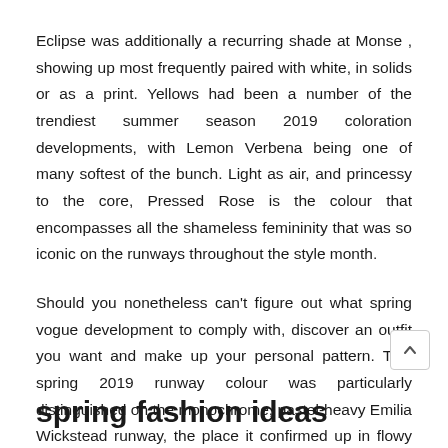Eclipse was additionally a recurring shade at Monse , showing up most frequently paired with white, in solids or as a print. Yellows had been a number of the trendiest summer season 2019 coloration developments, with Lemon Verbena being one of many softest of the bunch. Light as air, and princessy to the core, Pressed Rose is the colour that encompasses all the shameless femininity that was so iconic on the runways throughout the style month.
Should you nonetheless can't figure out what spring vogue development to comply with, discover an outfit you want and make up your personal pattern. This spring 2019 runway colour was particularly distinguished on the monochrome, pastel-heavy Emilia Wickstead runway, the place it confirmed up in flowy dresses and lengthy jackets.
spring fashion ideas